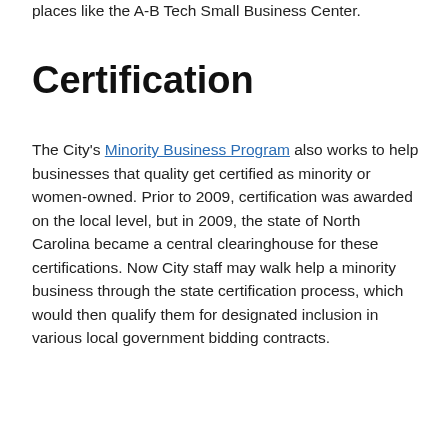places like the A-B Tech Small Business Center.
Certification
The City's Minority Business Program also works to help businesses that quality get certified as minority or women-owned. Prior to 2009, certification was awarded on the local level, but in 2009, the state of North Carolina became a central clearinghouse for these certifications. Now City staff may walk help a minority business through the state certification process, which would then qualify them for designated inclusion in various local government bidding contracts.